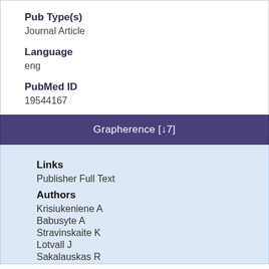Pub Type(s)
Journal Article
Language
eng
PubMed ID
19544167
Grapherence [↓7]
Links
Publisher Full Text
Authors
Krisiukeniene A
Babusyte A
Stravinskaite K
Lotvall J
Sakalauskas R